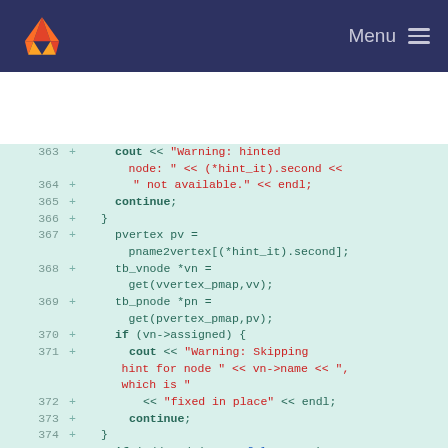GitLab navigation bar with logo and Menu
[Figure (screenshot): Code diff view showing lines 363-375+ of a C++ source file with added lines highlighted in green, containing cout warning messages and control flow logic.]